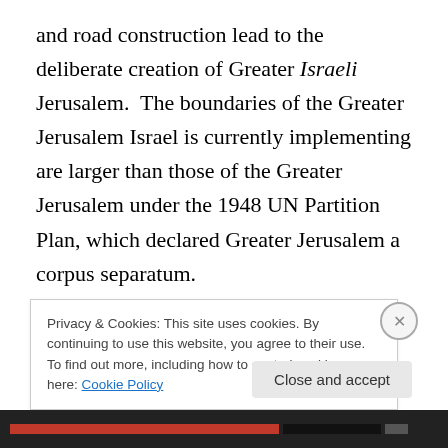and road construction lead to the deliberate creation of Greater Israeli Jerusalem. The boundaries of the Greater Jerusalem Israel is currently implementing are larger than those of the Greater Jerusalem under the 1948 UN Partition Plan, which declared Greater Jerusalem a corpus separatum.

The expansion of settlements, both eastward and westward, as well as the creation of bypass roads, all serve to connect Israeli settlements with Jerusalem and the rest of Israel, while further dividing the Palestinian
Privacy & Cookies: This site uses cookies. By continuing to use this website, you agree to their use.
To find out more, including how to control cookies, see here: Cookie Policy